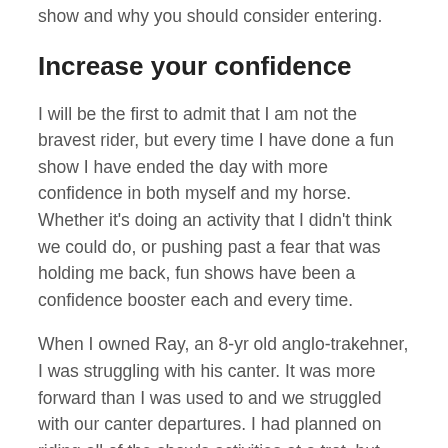Listed below are the top 10 reasons to love a good fun show and why you should consider entering.
Increase your confidence
I will be the first to admit that I am not the bravest rider, but every time I have done a fun show I have ended the day with more confidence in both myself and my horse. Whether it's doing an activity that I didn't think we could do, or pushing past a fear that was holding me back, fun shows have been a confidence booster each and every time.
When I owned Ray, an 8-yr old anglo-trakehner, I was struggling with his canter. It was more forward than I was used to and we struggled with our canter departures. I had planned on riding all of the show's activities at a trot, but found that after we started, I